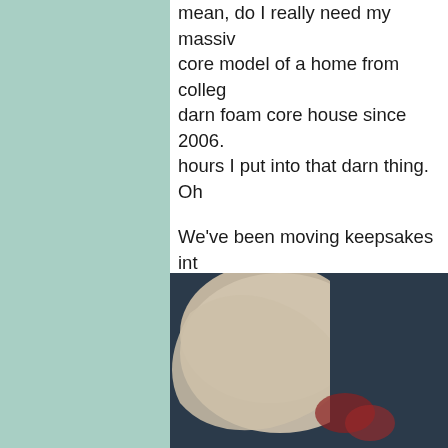mean, do I really need my massive foam core model of a home from college? I've had that darn foam core house since 2006. I loved all the hours I put into that darn thing. Oh
We've been moving keepsakes into storage (so they don't get ruined) and getting our garage organized and cleaned, well, sort of. The garage is kind of a mess and is starting to fall down. But, that's ano
I'm so happy we can go into our garage now. There's still a ton more to do, but we're getting there. Organizing does not come naturally for me. Bu cleaning out a box and getting rid of items and then later and go through that box again and get rid of even more items.
[Figure (photo): A photo showing what appears to be a light-colored fabric or paper bag against a dark navy/blue background, with what looks like red or colorful items partially visible.]